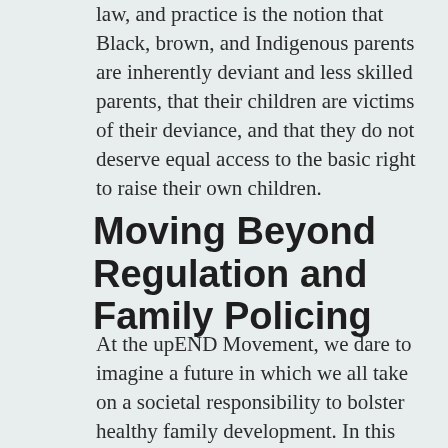law, and practice is the notion that Black, brown, and Indigenous parents are inherently deviant and less skilled parents, that their children are victims of their deviance, and that they do not deserve equal access to the basic right to raise their own children.
Moving Beyond Regulation and Family Policing
At the upEND Movement, we dare to imagine a future in which we all take on a societal responsibility to bolster healthy family development. In this future, we appreciate the origins and strengths of different cultural